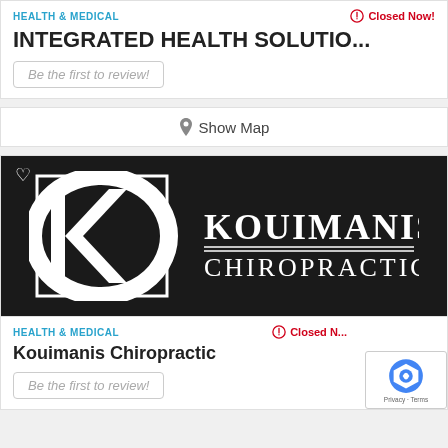HEALTH & MEDICAL
Closed Now!
INTEGRATED HEALTH SOLUTIO...
Be the first to review!
Show Map
[Figure (logo): Kouimanis Chiropractic logo: white KC lettermark on dark background with text KOUIMANIS CHIROPRACTIC]
HEALTH & MEDICAL
Closed N...
Kouimanis Chiropractic
Be the first to review!